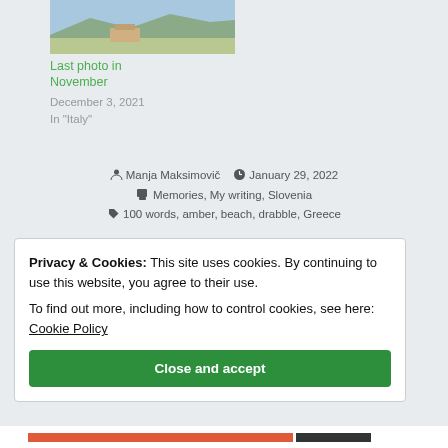[Figure (photo): Landscape photo showing a flat field with mountains and a building in the background under a blue sky]
Last photo in November
December 3, 2021
In "Italy"
Manja Maksimovič   January 29, 2022
Memories, My writing, Slovenia
100 words, amber, beach, drabble, Greece
Privacy & Cookies: This site uses cookies. By continuing to use this website, you agree to their use.
To find out more, including how to control cookies, see here: Cookie Policy
Close and accept